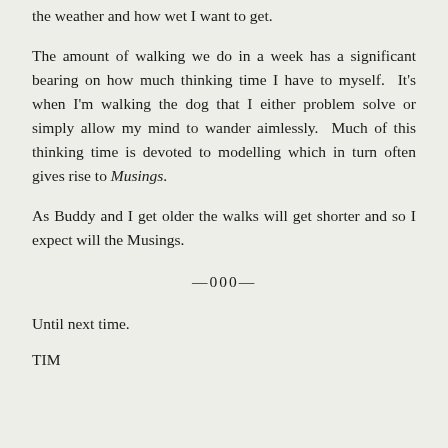the weather and how wet I want to get.
The amount of walking we do in a week has a significant bearing on how much thinking time I have to myself. It's when I'm walking the dog that I either problem solve or simply allow my mind to wander aimlessly. Much of this thinking time is devoted to modelling which in turn often gives rise to Musings.
As Buddy and I get older the walks will get shorter and so I expect will the Musings.
—000—
Until next time.
TIM